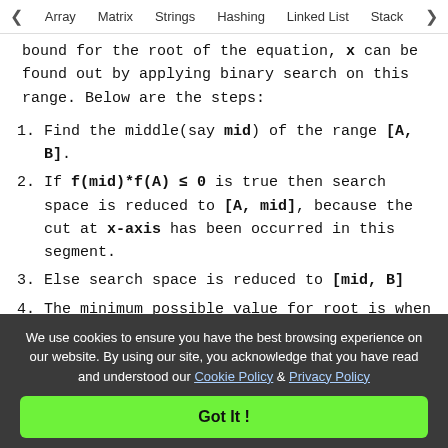◀ Array   Matrix   Strings   Hashing   Linked List   Stack ▶
bound for the root of the equation, x can be found out by applying binary search on this range. Below are the steps:
1. Find the middle(say mid) of the range [A, B].
2. If f(mid)*f(A) ≤ 0 is true then search space is reduced to [A, mid], because the cut at x-axis has been occurred in this segment.
3. Else search space is reduced to [mid, B]
4. The minimum possible value for root is when the high value becomes just smaller than
We use cookies to ensure you have the best browsing experience on our website. By using our site, you acknowledge that you have read and understood our Cookie Policy & Privacy Policy
Got It !